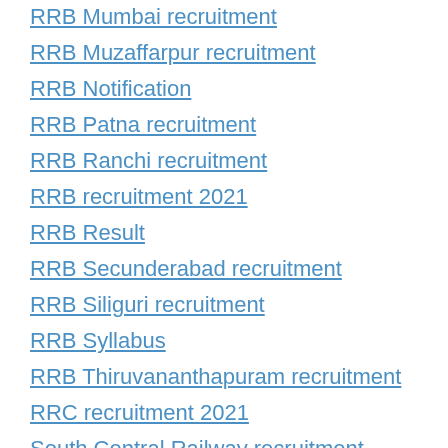RRB Mumbai recruitment
RRB Muzaffarpur recruitment
RRB Notification
RRB Patna recruitment
RRB Ranchi recruitment
RRB recruitment 2021
RRB Result
RRB Secunderabad recruitment
RRB Siliguri recruitment
RRB Syllabus
RRB Thiruvananthapuram recruitment
RRC recruitment 2021
South Central Railway recruitment